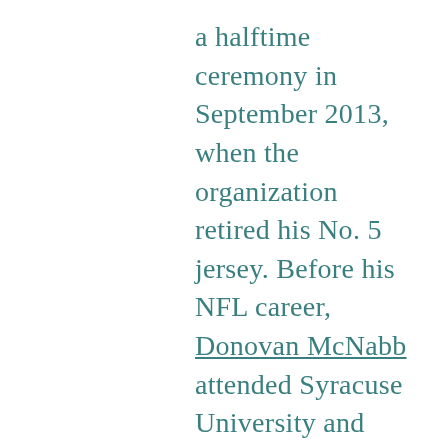a halftime ceremony in September 2013, when the organization retired his No. 5 jersey. Before his NFL career, Donovan McNabb attended Syracuse University and holds school records for career touchdown passes and yards gained. He earned All-Big East honors all four seasons of his collegiate career and was named the league's Offensive Player of the Year three times. Donovan McNabb was recognized as